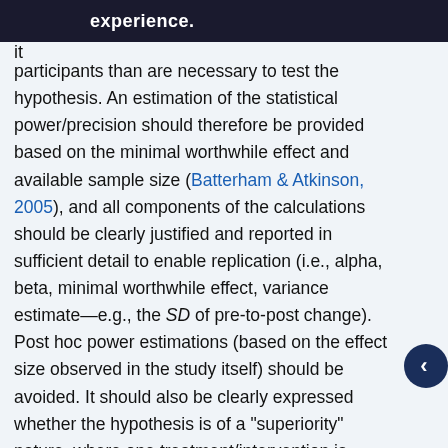experience.
it participants than are necessary to test the hypothesis. An estimation of the statistical power/precision should therefore be provided based on the minimal worthwhile effect and available sample size (Batterham & Atkinson, 2005), and all components of the calculations should be clearly justified and reported in sufficient detail to enable replication (i.e., alpha, beta, minimal worthwhile effect, variance estimate—e.g., the SD of pre-to-post change). Post hoc power estimations (based on the effect size observed in the study itself) should be avoided. It should also be clearly expressed whether the hypothesis is of a “superiority” nature, where one treatment/intervention is hypothesized to differ from the control or another intervention, or whether the study is more akin to an “equivalence trial” in which one treatment/intervention is deemed to be of similar effectiveness to